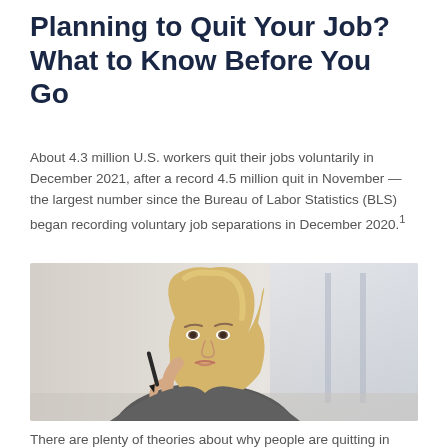Planning to Quit Your Job? What to Know Before You Go
About 4.3 million U.S. workers quit their jobs voluntarily in December 2021, after a record 4.5 million quit in November — the largest number since the Bureau of Labor Statistics (BLS) began recording voluntary job separations in December 2020.¹
[Figure (photo): A middle-aged blonde woman in a gray top, holding a pen to her chin thoughtfully, in an office environment with blurred background.]
There are plenty of theories about why people are quitting in droves, including a strong job market and